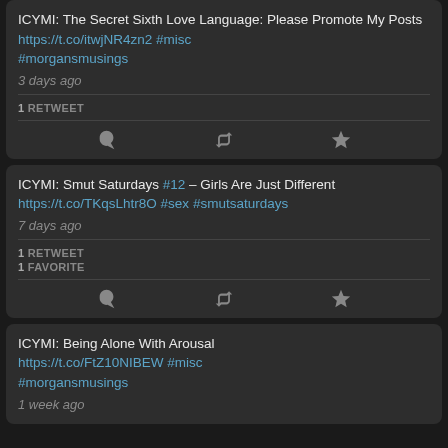ICYMI: The Secret Sixth Love Language: Please Promote My Posts https://t.co/itwjNR4zn2 #misc #morgansmusings
3 days ago
1 RETWEET
ICYMI: Smut Saturdays #12 – Girls Are Just Different https://t.co/TKqsLhtr8O #sex #smutsaturdays
7 days ago
1 RETWEET
1 FAVORITE
ICYMI: Being Alone With Arousal https://t.co/FtZ10NIBEW #misc #morgansmusings
1 week ago